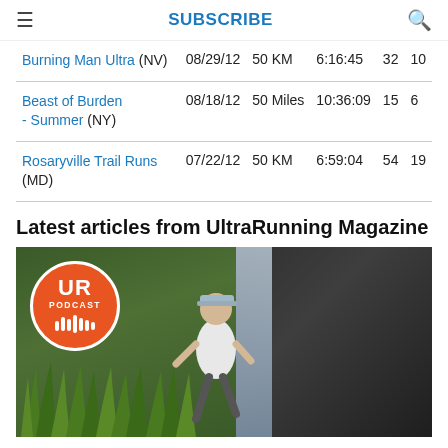SUBSCRIBE
| Race | Date | Distance | Time | Place | AG |
| --- | --- | --- | --- | --- | --- |
| Burning Man Ultra (NV) | 08/29/12 | 50 KM | 6:16:45 | 32 | 10 |
| Beast of Burden - Summer (NY) | 08/18/12 | 50 Miles | 10:36:09 | 15 | 6 |
| Rosaryville Trail Runs (MD) | 07/22/12 | 50 KM | 6:59:04 | 54 | 19 |
Latest articles from UltraRunning Magazine
[Figure (photo): A trail runner in a white vest running through tropical green grass with a waterfall and dark rocks in the background. An orange UR Podcast circular badge is overlaid in the top-left corner.]